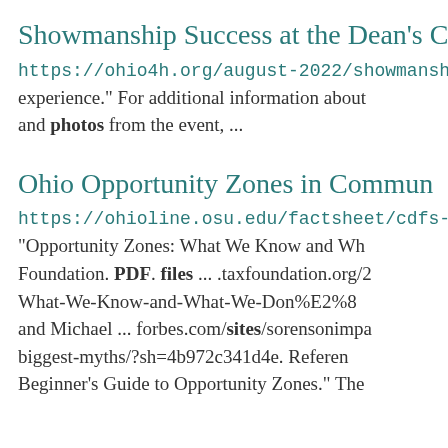Showmanship Success at the Dean's C
https://ohio4h.org/august-2022/showmanship-succ... experience." For additional information about and photos from the event, ...
Ohio Opportunity Zones in Commun
https://ohioline.osu.edu/factsheet/cdfs-4112 "Opportunity Zones: What We Know and Wh Foundation. PDF. files ... .taxfoundation.org/2 What-We-Know-and-What-We-Don%E2%8 and Michael ... forbes.com/sites/sorensonimpa biggest-myths/?sh=4b972c341d4e. Referen Beginner's Guide to Opportunity Zones." The